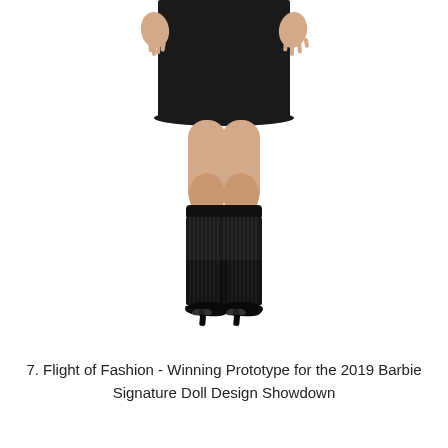[Figure (photo): Close-up photograph of a Barbie doll's lower body wearing a black mini dress, black ribbed knee-high socks with lace tops, and black pointed-toe heels. The doll's hands are posed at its sides with fingers spread. White background.]
7. Flight of Fashion - Winning Prototype for the 2019 Barbie Signature Doll Design Showdown